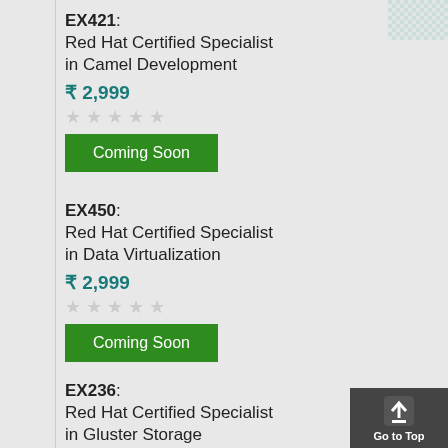EX421: Red Hat Certified Specialist in Camel Development ₹ 2,999 Coming Soon
EX450: Red Hat Certified Specialist in Data Virtualization ₹ 2,999 Coming Soon
EX236: Red Hat Certified Specialist in Gluster Storage Administration